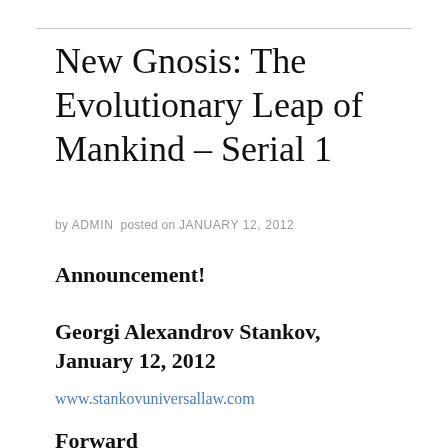New Gnosis: The Evolutionary Leap of Mankind – Serial 1
by ADMIN posted on JANUARY 12, 2012
Announcement!
Georgi Alexandrov Stankov, January 12, 2012
www.stankovuniversallaw.com
Forward